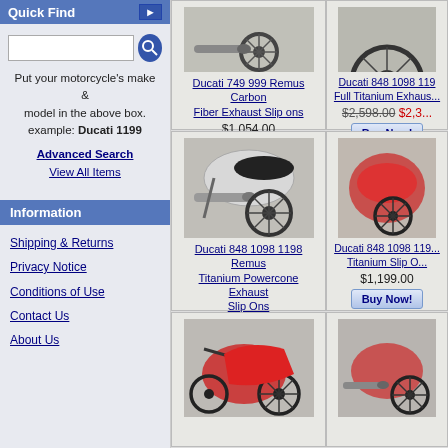Quick Find
Put your motorcycle's make & model in the above box. example: Ducati 1199
Advanced Search
View All Items
Information
Shipping & Returns
Privacy Notice
Conditions of Use
Contact Us
About Us
[Figure (photo): Ducati 749 999 motorcycle exhaust slip on - carbon fiber]
Ducati 749 999 Remus Carbon Fiber Exhaust Slip ons
$1,054.00
[Figure (photo): Ducati 848 1098 1198 motorcycle full titanium exhaust - partially visible]
Ducati 848 1098 119... Full Titanium Exhaus...
$2,598.00  $2,3...
[Figure (photo): Ducati 848 1098 1198 motorcycle with Remus Titanium Powercone exhaust slip ons - silver/white]
Ducati 848 1098 1198 Remus Titanium Powercone Exhaust Slip Ons
$1,558.99
[Figure (photo): Ducati 848 1098 119... motorcycle with Titanium Slip on]
Ducati 848 1098 119... Titanium Slip O...
$1,199.00
[Figure (photo): Red Ducati motorcycle - bottom left product]
[Figure (photo): Red Ducati motorcycle with exhaust - bottom right product]